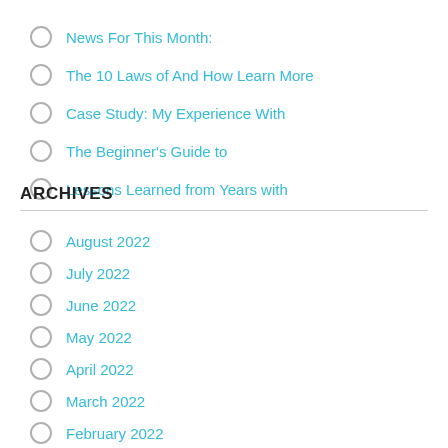News For This Month:
The 10 Laws of And How Learn More
Case Study: My Experience With
The Beginner's Guide to
Lessons Learned from Years with
ARCHIVES
August 2022
July 2022
June 2022
May 2022
April 2022
March 2022
February 2022
January 2022